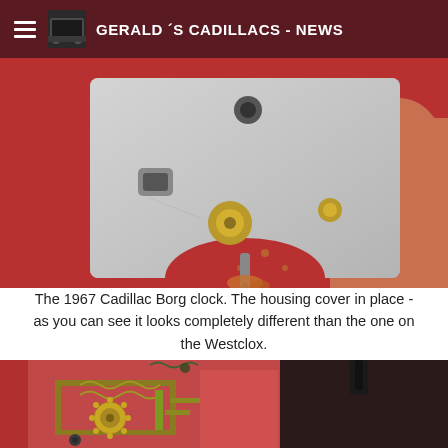GERALD´S CADILLACS - NEWS
[Figure (photo): Close-up photo of a 1967 Cadillac Borg clock housing cover held in a hand, viewed from the back. The metal housing cover is silver/grey with holes and connectors visible, set against a red background.]
The 1967 Cadillac Borg clock. The housing cover in place - as you can see it looks completely different than the one on the Westclox.
[Figure (photo): Close-up photo of the internal mechanical workings of a clock, showing gears, springs, and other clock mechanism components against a pink/red background.]